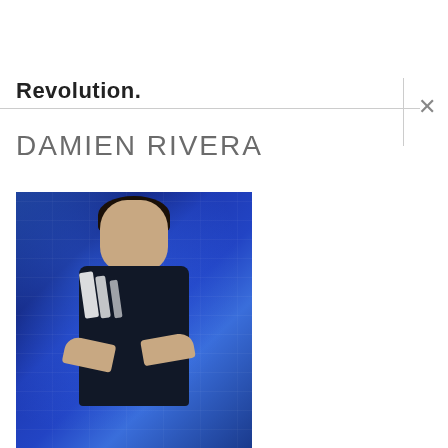Revolution.
DAMIEN RIVERA
[Figure (photo): Photo of Damien Rivera, a young male soccer player wearing a dark navy Adidas jersey with crossed arms, photographed against a blue-lit brick wall background.]